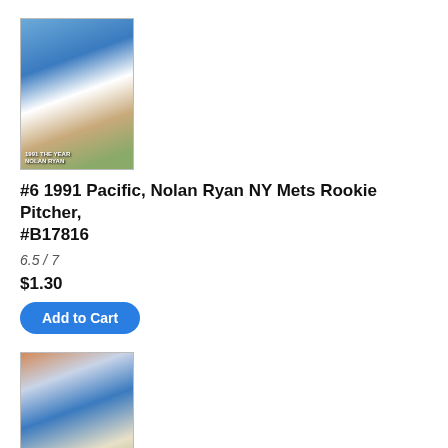[Figure (photo): Baseball card showing Nolan Ryan as NY Mets rookie pitcher, 1991 Pacific card]
#6 1991 Pacific, Nolan Ryan NY Mets Rookie Pitcher, #B17816
6.5 / 7
$1.30
Add to Cart
[Figure (photo): Baseball card showing Nolan Ryan 1st Major League Win, 1991 Pacific card]
#7 1991 Pacific, Nolan Ryan 1st Major League Win, #B17817
Prob a 7
$1.50